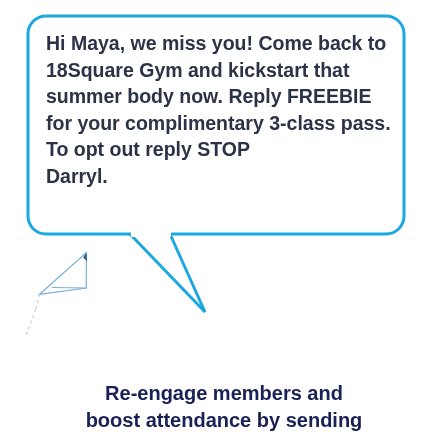[Figure (illustration): Speech bubble with blue border containing bold dark text message from Darryl about 18Square Gym, with a triangular tail pointing downward-left, and a paper airplane icon below]
Hi Maya, we miss you! Come back to 18Square Gym and kickstart that summer body now. Reply FREEBIE for your complimentary 3-class pass. To opt out reply STOP
Darryl.
Re-engage members and boost attendance by sending